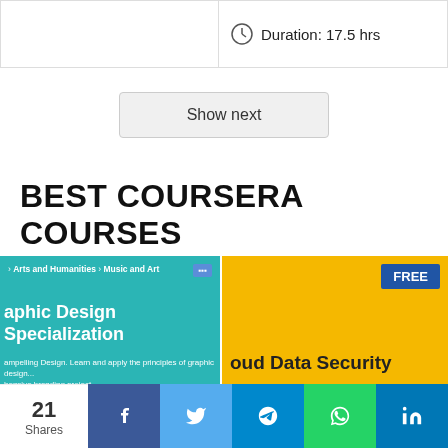Duration: 17.5 hrs
Show next
BEST COURSERA COURSES
[Figure (screenshot): Coursera course card for Graphic Design Specialization with teal background, Arts and Humanities > Music and Art breadcrumb, 4.7 rating with 22,263 ratings, taught by Michael Worthington +4 more instructors]
[Figure (screenshot): Coursera course card for Cloud Data Security on yellow background with FREE badge]
21 Shares